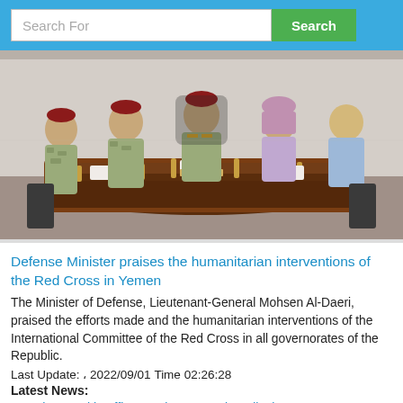Search For | Search
[Figure (photo): Military and civilian officials seated around a large conference table in a meeting room. Several individuals wearing military uniforms with red berets are on the left side, a senior military officer sits at the head of the table, and civilian individuals including a woman in a headscarf sit on the right side.]
Defense Minister praises the humanitarian interventions of the Red Cross in Yemen
The Minister of Defense, Lieutenant-General Mohsen Al-Daeri, praised the efforts made and the humanitarian interventions of the International Committee of the Red Cross in all governorates of the Republic.
Last Update: , 2022/09/01 Time 02:26:28
Latest News:
Mahra Health Office receives Omani medical support